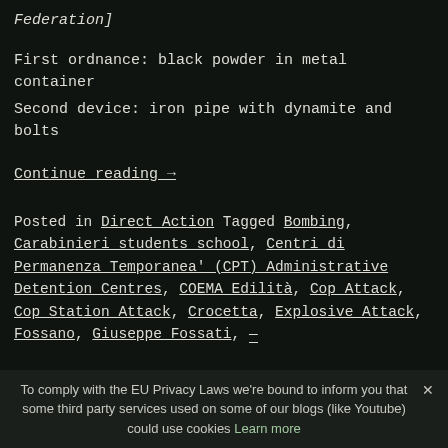Federation]
First ordnance: black powder in metal container
Second device: iron pipe with dynamite and bolts
Continue reading →
Posted in Direct Action Tagged Bombing, Carabinieri students school, Centri di Permanenza Temporanea' (CPT) Administrative Detention Centres, COEMA Edilità, Cop Attack, Cop Station Attack, Crocetta, Explosive Attack, Fossano, Giuseppe Fossati, [truncated]
To comply with the EU Privacy Laws we're bound to inform you that some third party services used on some of our blogs (like Youtube) could use cookies Learn more